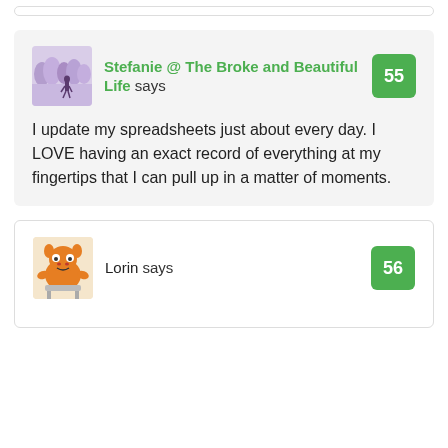[Figure (other): Top partial comment card border visible at top of page]
Stefanie @ The Broke and Beautiful Life says
I update my spreadsheets just about every day. I LOVE having an exact record of everything at my fingertips that I can pull up in a matter of moments.
Lorin says